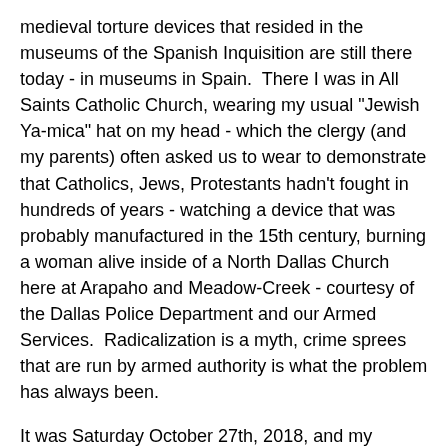medieval torture devices that resided in the museums of the Spanish Inquisition are still there today - in museums in Spain.  There I was in All Saints Catholic Church, wearing my usual "Jewish Ya-mica" hat on my head - which the clergy (and my parents) often asked us to wear to demonstrate that Catholics, Jews, Protestants hadn't fought in hundreds of years - watching a device that was probably manufactured in the 15th century, burning a woman alive inside of a North Dallas Church here at Arapaho and Meadow-Creek - courtesy of the Dallas Police Department and our Armed Services.  Radicalization is a myth, crime sprees that are run by armed authority is what the problem has always been.
It was Saturday October 27th, 2018, and my Master from the office tower down the street had ordered me to collect food from the local food pantry at All Saints Catholic Church.  Today, All Saints is a little shell of an organization.  There are quite a few lies hanging on the hallway.  I personally remember actually helping build parts of the church that stands today at the age of 12, 13, and 14 laying bricks and pouring cement for parts of the stage / annex area.  I walk